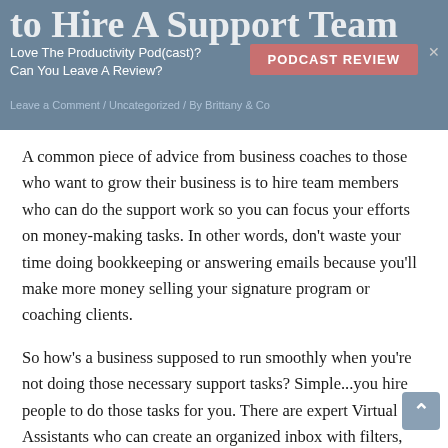to Hire A Support Team
Love The Productivity Pod(cast)?
Can You Leave A Review?
PODCAST REVIEW
Leave a Comment / Uncategorized / By Brittany & Co
A common piece of advice from business coaches to those who want to grow their business is to hire team members who can do the support work so you can focus your efforts on money-making tasks. In other words, don't waste your time doing bookkeeping or answering emails because you'll make more money selling your signature program or coaching clients.
So how's a business supposed to run smoothly when you're not doing those necessary support tasks? Simple...you hire people to do those tasks for you. There are expert Virtual Assistants who can create an organized inbox with filters, folders and labels in mere minutes. There are expert Bookkeepers who find joy in numbers and live for balancing your books each month. And there are still others who adore creating online content and helping you connect with the largest audience possible. This is the